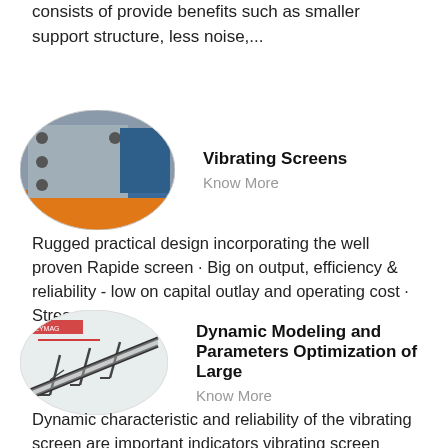consists of provide benefits such as smaller support structure, less noise,...
[Figure (photo): Oval/elliptical photo of a vibrating screen machine with bolted metal plate, industrial setting with orange and blue machinery]
Vibrating Screens
Know More
Rugged practical design incorporating the well proven Rapide screen · Big on output, efficiency & reliability - low on capital outlay and operating cost · Stress...
[Figure (photo): Oval/elliptical image of a conveyor belt structure diagram with red text label, engineering schematic style]
Dynamic Modeling and Parameters Optimization of Large
Know More
Dynamic characteristic and reliability of the vibrating screen are important indicators vibrating screen based